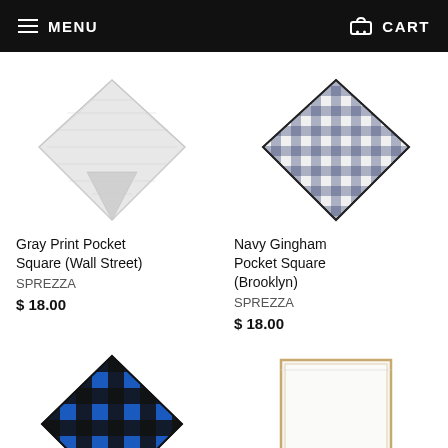MENU  CART
[Figure (photo): Gray print pocket square folded in diamond shape, light gray with subtle grid pattern]
[Figure (photo): Navy gingham pocket square folded in diamond shape, white with navy blue check pattern]
Gray Print Pocket Square (Wall Street)
SPREZZA
$ 18.00
Navy Gingham Pocket Square (Brooklyn)
SPREZZA
$ 18.00
[Figure (photo): Blue and black plaid/buffalo check pocket square folded in diamond shape]
[Figure (photo): White pocket square with tan/beige border, folded flat rectangle shape]